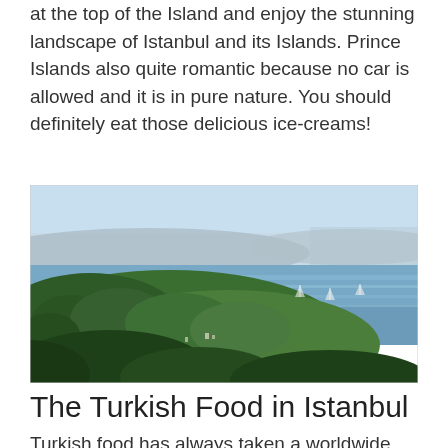at the top of the Island and enjoy the stunning landscape of Istanbul and its Islands. Prince Islands also quite romantic because no car is allowed and it is in pure nature. You should definitely eat those delicious ice-creams!
[Figure (photo): Aerial/elevated view of a forested island with a city and body of water (Bosphorus or Sea of Marmara) visible in the background. The image shows the Prince Islands near Istanbul with dense green trees in the foreground, blue water, and the Istanbul skyline in the distance under a hazy sky.]
The Turkish Food in Istanbul
Turkish food has always taken a worldwide